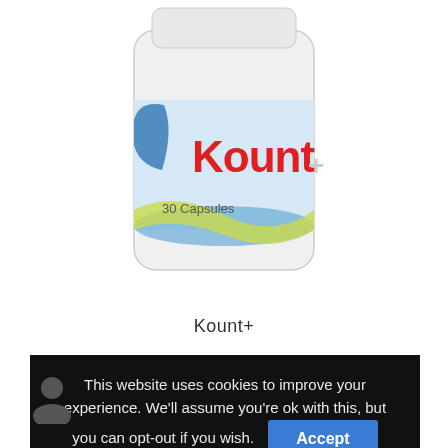[Figure (photo): White plastic pill bottle with 'Kount+' brand label in red text, blue and yellow-green design elements, '30 Capsules' text on label]
Kount+
This website uses cookies to improve your experience. We'll assume you're ok with this, but you can opt-out if you wish. Accept  Read More